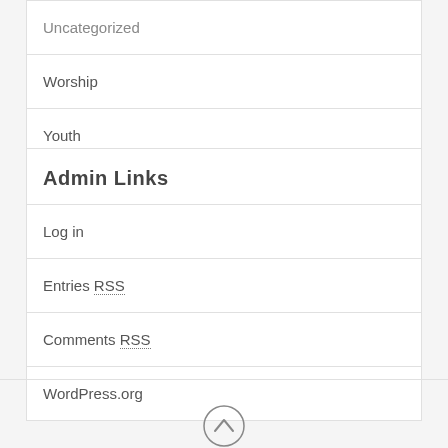Uncategorized
Worship
Youth
Admin Links
Log in
Entries RSS
Comments RSS
WordPress.org
[Figure (illustration): Back to top arrow icon — circle with upward chevron]